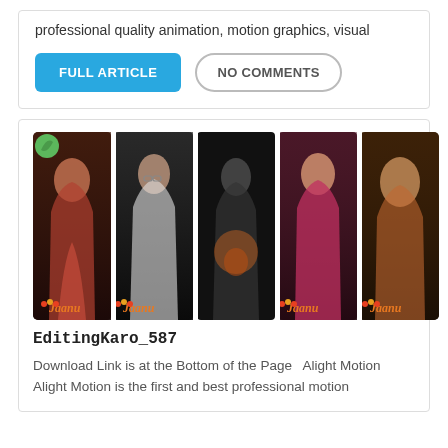professional quality animation, motion graphics, visual
FULL ARTICLE
NO COMMENTS
[Figure (photo): A strip of 5 portrait photos of women, with 'Jaanu' text watermark at the bottom of each panel. A green leaf icon is in the top-left corner.]
EditingKaro_587
Download Link is at the Bottom of the Page  Alight Motion Alight Motion is the first and best professional motion